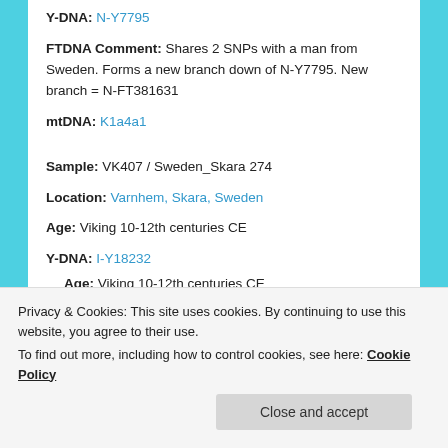Y-DNA: N-Y7795
FTDNA Comment: Shares 2 SNPs with a man from Sweden. Forms a new branch down of N-Y7795. New branch = N-FT381631
mtDNA: K1a4a1
Sample: VK407 / Sweden_Skara 274
Location: Varnhem, Skara, Sweden
Age: Viking 10-12th centuries CE
Y-DNA: I-Y18232
mtDNA: H1c21
Sample: VK408 / Russia_Ladoga_5757-18
Location: Ladoga, Russia
Age: Viking 10-12th centuries CE
Privacy & Cookies: This site uses cookies. By continuing to use this website, you agree to their use.
To find out more, including how to control cookies, see here: Cookie Policy